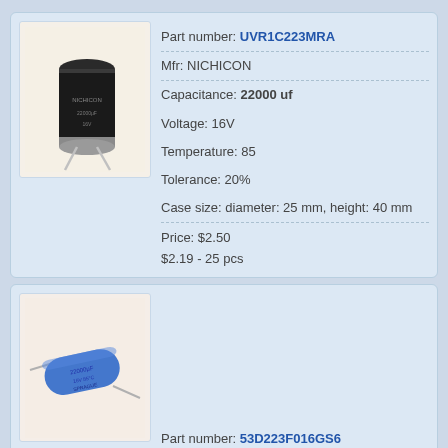[Figure (photo): Photo of a black electrolytic capacitor (NICHICON 22000uF 16V) with two wire leads]
Part number: UVR1C223MRA
Mfr: NICHICON
Capacitance: 22000 uf
Voltage: 16V
Temperature: 85
Tolerance: 20%
Case size: diameter: 25 mm, height: 40 mm
Price: $2.50
$2.19 - 25 pcs
[Figure (photo): Photo of a blue cylindrical axial capacitor with wire leads]
Part number: 53D223F016GS6